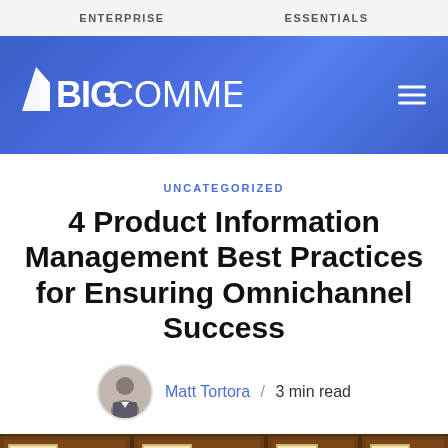ENTERPRISE   ESSENTIALS
[Figure (logo): BigCommerce logo in white on blue gradient banner with hamburger menu icon]
UNCATEGORIZED
4 Product Information Management Best Practices for Ensuring Omnichannel Success
Matt Tortora / 3 min read
[Figure (photo): Close-up photo of wooden card catalog drawers with brass handles and label holders]